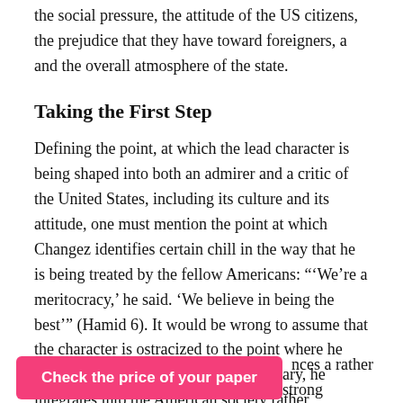the social pressure, the attitude of the US citizens, the prejudice that they have toward foreigners, a and the overall atmosphere of the state.
Taking the First Step
Defining the point, at which the lead character is being shaped into both an admirer and a critic of the United States, including its culture and its attitude, one must mention the point at which Changez identifies certain chill in the way that he is being treated by the fellow Americans: "‘We’re a meritocracy,’ he said. ‘We believe in being the best’" (Hamid 6). It would be wrong to assume that the character is ostracized to the point where he becomes an outcast; quite on the contrary, he integrates into the American society rather successfully, as his life story shows.
nces a rather strong
Check the price of your paper